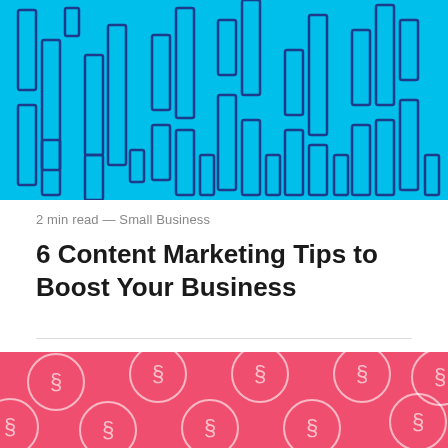[Figure (illustration): Cyan/turquoise background pattern with multiple outlined rectangles of varying heights arranged like abstract bar charts, in dark blue outlines on bright cyan background]
2 min read — Small Business
6 Content Marketing Tips to Boost Your Business
[Figure (illustration): Pink/coral background pattern with white outlined circles containing section symbol (§) characters, repeating across the banner]